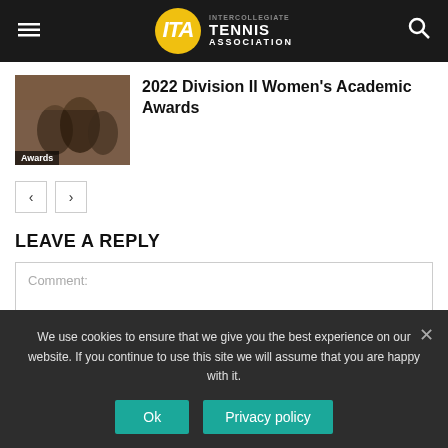ITA Intercollegiate Tennis Association
[Figure (photo): Group of female tennis players in dark uniforms celebrating outdoors]
2022 Division II Women's Academic Awards
LEAVE A REPLY
Comment:
We use cookies to ensure that we give you the best experience on our website. If you continue to use this site we will assume that you are happy with it.